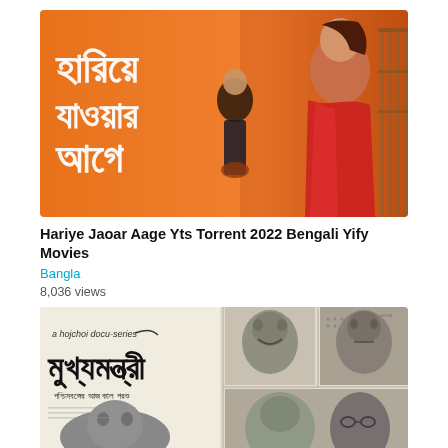[Figure (photo): Movie poster for 'Hariye Jaoar Aage' — orange background with Bengali title text in white, two women figures, one in a red saree]
Hariye Jaoar Aage Yts Torrent 2022 Bengali Yify Movies
Bangla
8,036 views
[Figure (photo): Black and white collage/newspaper style poster for 'Mukhyamantri', a Hojchoi docu-series, showing faces of various political figures]